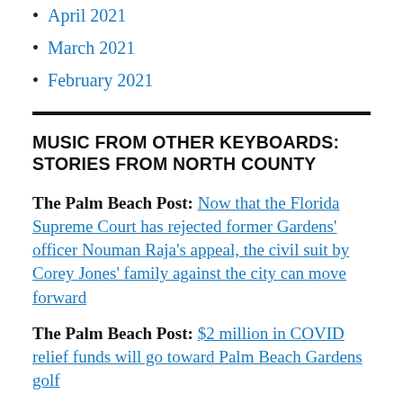April 2021
March 2021
February 2021
MUSIC FROM OTHER KEYBOARDS: STORIES FROM NORTH COUNTY
The Palm Beach Post: Now that the Florida Supreme Court has rejected former Gardens' officer Nouman Raja's appeal, the civil suit by Corey Jones' family against the city can move forward
The Palm Beach Post: $2 million in COVID relief funds will go toward Palm Beach Gardens golf